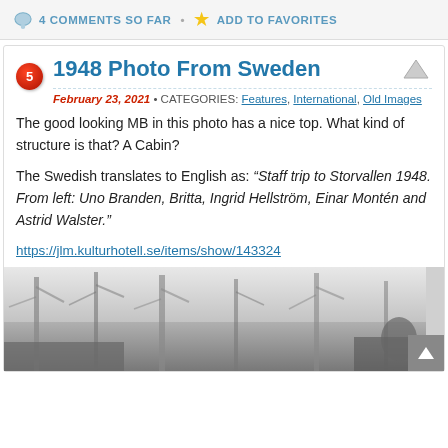4 COMMENTS SO FAR • ADD TO FAVORITES
1948 Photo From Sweden
February 23, 2021 • CATEGORIES: Features, International, Old Images
The good looking MB in this photo has a nice top. What kind of structure is that? A Cabin?
The Swedish translates to English as: “Staff trip to Storvallen 1948. From left: Uno Branden, Britta, Ingrid Hellström, Einar Montén and Astrid Walster.”
https://jlm.kulturhotell.se/items/show/143324
[Figure (photo): Black and white historical photo from Sweden 1948, showing trees and partial view of people outdoors]